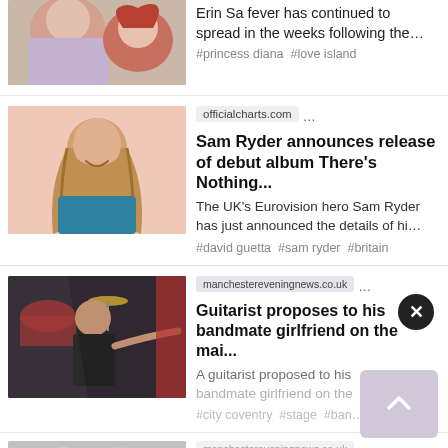[Figure (photo): Two people, one with red hair, partially visible at top]
Erin Sa fever has continued to spread in the weeks following the…
#princess diana #love island
[Figure (photo): Man with long brown-blonde hair smiling, pink background]
officialcharts.com ...
Sam Ryder announces release of debut album There's Nothing...
The UK's Eurovision hero Sam Ryder has just announced the details of hi…
#david guetta #sam ryder #britain
[Figure (photo): Guitarist on stage reaching out, drums in background]
manchestereveningnews.co.uk ...
Guitarist proposes to his bandmate girlfriend on the mai...
A guitarist proposed to his bandmate girlfriend on the…
#city coventry #stage #ban…
[Figure (photo): Dimmed photo at bottom, two people visible]
manchestereveningnews.co.uk ...
In True statement is full…